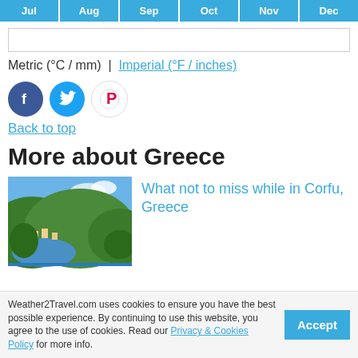[Figure (other): Month navigation buttons: Jul, Aug, Sep, Oct, Nov, Dec in blue]
[Figure (other): Search bar input field]
Metric (°C / mm)  |  Imperial (°F / inches)
[Figure (other): Social media icons: Facebook, Twitter, Pinterest]
Back to top
More about Greece
[Figure (photo): Aerial view of Corfu, Greece coastline with green hills and blue water]
What not to miss while in Corfu, Greece
Weather2Travel.com uses cookies to ensure you have the best possible experience. By continuing to use this website, you agree to the use of cookies. Read our Privacy & Cookies Policy for more info.